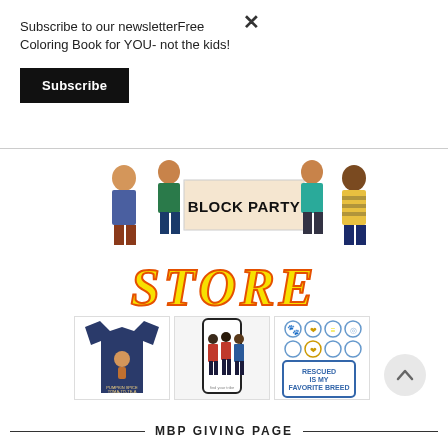Subscribe to our newsletterFree Coloring Book for YOU- not the kids!
Subscribe
[Figure (illustration): Block Party Store banner with illustrated diverse people holding a sign reading BLOCK PARTY, and bold yellow italic STORE text below]
[Figure (photo): Three product images: a navy t-shirt with pumpkin spice latte cat design, a phone case with illustrated women and text 'find your tribe', and stickers reading 'Rescued is my favorite breed']
MBP GIVING PAGE